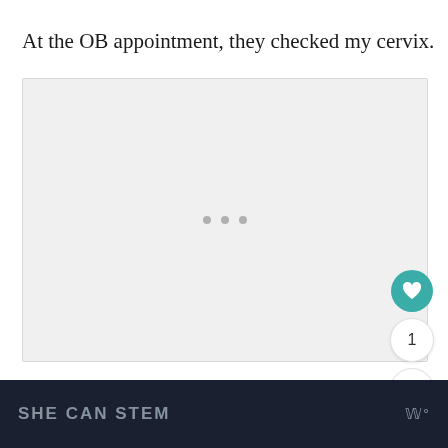At the OB appointment, they checked my cervix.
[Figure (other): Light gray placeholder image area with three small gray dots centered, indicating loading or carousel navigation dots]
SHE CAN STEM